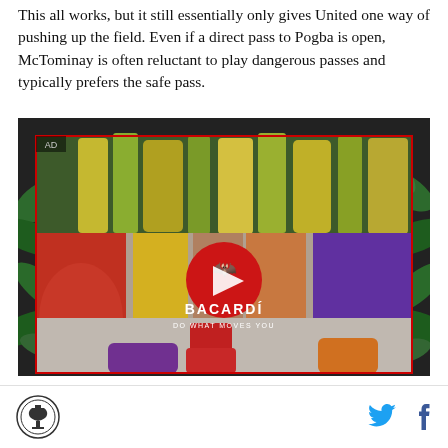This all works, but it still essentially only gives United one way of pushing up the field. Even if a direct pass to Pogba is open, McTominay is often reluctant to play dangerous passes and typically prefers the safe pass.
[Figure (photo): Advertisement for Bacardi showing people dancing with colorful clothing and red boots, with tropical foliage framing the image and Bacardi logo with play button overlay. Text reads 'BACARDÍ DO WHAT MOVES YOU'.]
SB Nation logo | Twitter icon | Facebook icon